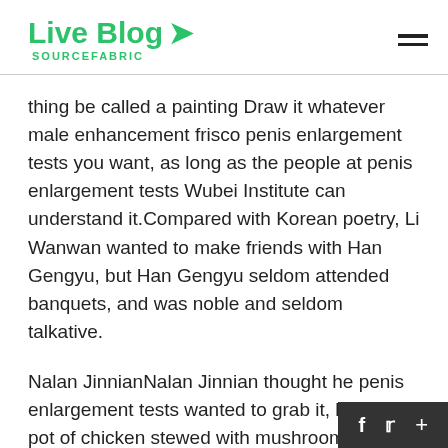Live Blog SOURCEFABRIC
thing be called a painting Draw it whatever male enhancement frisco penis enlargement tests you want, as long as the people at penis enlargement tests Wubei Institute can understand it.Compared with Korean poetry, Li Wanwan wanted to make friends with Han Gengyu, but Han Gengyu seldom attended banquets, and was noble and seldom talkative.
Nalan JinnianNalan Jinnian thought he penis enlargement tests wanted to grab it, but the pot of chicken stewed with mushrooms was still boiling hot, and worried that it would burn him, so he flicked a piece of silver and stopped it, too.It did not take much effort, I did not expect him to make such a shameless and amazing move This simply refresh worldview Warmth I have never seen such a sha